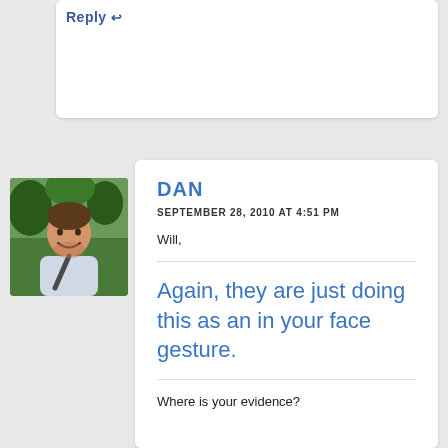Reply ↩
[Figure (photo): Avatar photo of Dan, a man smiling outdoors with trees in background, wearing a backpack strap]
DAN
SEPTEMBER 28, 2010 AT 4:51 PM
Will,
Again, they are just doing this as an in your face gesture.
Where is your evidence?